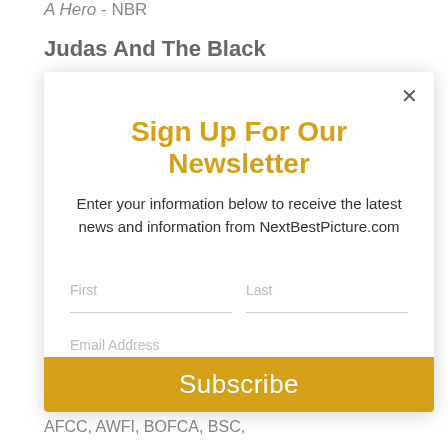A Hero - NBR
Judas And The Black
[Figure (screenshot): Newsletter signup modal popup with title 'Sign Up For Our Newsletter', subtitle text, First/Last name fields, Email Address field, and yellow Subscribe button]
The Power Of The Dog (15) -
AFCC, AWFI, BOFCA, BSC,